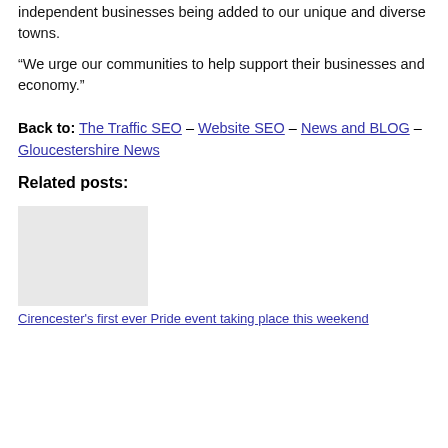independent businesses being added to our unique and diverse towns.
“We urge our communities to help support their businesses and economy.”
Back to: The Traffic SEO – Website SEO – News and BLOG – Gloucestershire News
Related posts:
Cirencester's first ever Pride event taking place this weekend